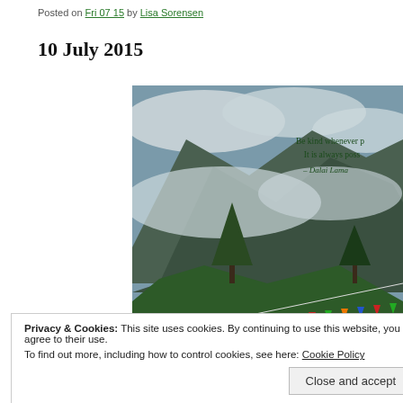Posted on Fri 07 15 by Lisa Sorensen
10 July 2015
[Figure (photo): Mountain landscape with clouds, trees, and colorful prayer flags in the foreground. Text overlay reads: 'Be kind whenever p[ossible]. It is always poss[ible]. – Dalai Lama']
Privacy & Cookies: This site uses cookies. By continuing to use this website, you agree to their use.
To find out more, including how to control cookies, see here: Cookie Policy
Close and accept
Advertisements